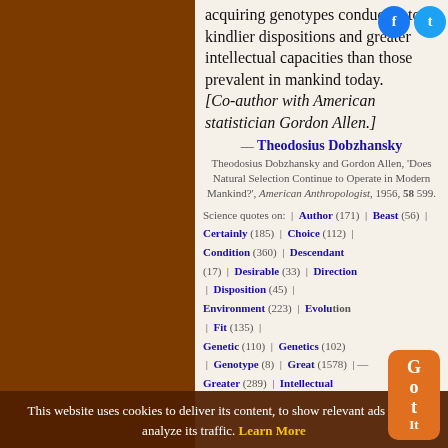acquiring genotypes conducive to kindlier dispositions and greater intellectual capacities than those prevalent in mankind today.
[Co-author with American statistician Gordon Allen.]
— Theodosius Dobzhansky
Theodosius Dobzhansky and Gordon Allen, 'Does Natural Selection Continue to Operate in Modern Mankind?', American Anthropologist, 1956, 58 599.
Science quotes on: | Author (171) | Beast (56) | Certainly (185) | Choice (112) | Condition (360) | Descendant (17) | Desirable (33) | Direction | Disposition (45) | Environment (223) | Evolution | Fit (135) | Genetic (110) | Genetics (102) | Genotype (8) | Great (1578) | Greater (289) | Intellectual
This website uses cookies to deliver its content, to show relevant ads and to analyze its traffic. Learn More